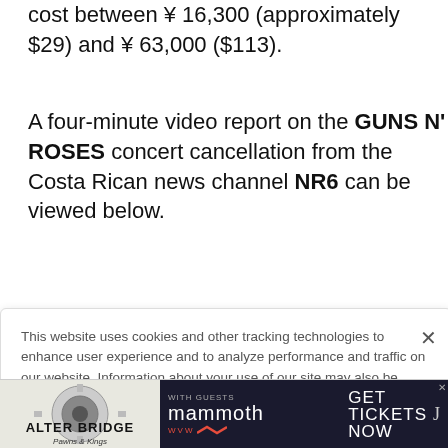cost between ¥ 16,300 (approximately $29) and ¥ 63,000 ($113).
A four-minute video report on the GUNS N' ROSES concert cancellation from the Costa Rican news channel NR6 can be viewed below.
[Figure (screenshot): Orange advertisement banner partially visible showing 'THE DEA...' style text in dark red on orange background, with a blue X close button]
This website uses cookies and other tracking technologies to enhance user experience and to analyze performance and traffic on our website. Information about your use of our site may also be shared with social media, advertising, retail and analytics providers and partners. Privacy Policy
[Figure (screenshot): Alter Bridge advertisement banner at bottom showing concert promotion with mammoth wvw and GET TICKETS NOW]